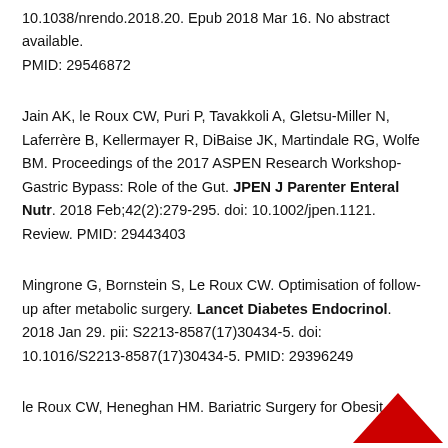10.1038/nrendo.2018.20. Epub 2018 Mar 16. No abstract available. PMID: 29546872
Jain AK, le Roux CW, Puri P, Tavakkoli A, Gletsu-Miller N, Laferrère B, Kellermayer R, DiBaise JK, Martindale RG, Wolfe BM. Proceedings of the 2017 ASPEN Research Workshop-Gastric Bypass: Role of the Gut. JPEN J Parenter Enteral Nutr. 2018 Feb;42(2):279-295. doi: 10.1002/jpen.1121. Review. PMID: 29443403
Mingrone G, Bornstein S, Le Roux CW. Optimisation of follow-up after metabolic surgery. Lancet Diabetes Endocrinol. 2018 Jan 29. pii: S2213-8587(17)30434-5. doi: 10.1016/S2213-8587(17)30434-5. PMID: 29396249
le Roux CW, Heneghan HM. Bariatric Surgery for Obesity.